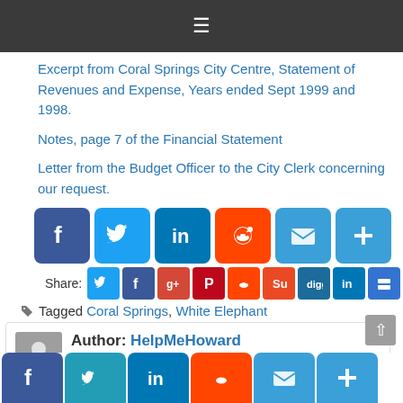≡
Excerpt from Coral Springs City Centre, Statement of Revenues and Expense, Years ended Sept 1999 and 1998.
Notes, page 7 of the Financial Statement
Letter from the Budget Officer to the City Clerk concerning our request.
[Figure (infographic): Row of social share icons: Facebook (blue), Twitter (blue), LinkedIn (blue), Reddit (orange), Email (blue), Plus/More (blue)]
[Figure (infographic): Share row with label 'Share:' and small icons: Twitter, Facebook, Google+, Pinterest, Reddit, StumbleUpon, Digg, LinkedIn, Delicious]
Tagged Coral Springs, White Elephant
Author: HelpMeHoward
[Figure (infographic): Bottom bar social share icons: Facebook (blue), Twitter (teal), LinkedIn (blue), Reddit (orange), Email (blue), Plus/More (blue)]